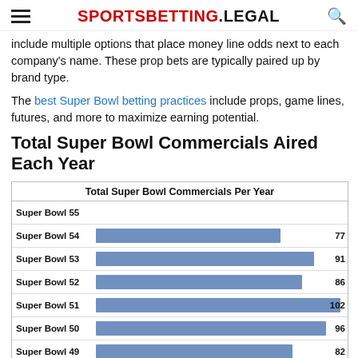SPORTSBETTING.LEGAL
include multiple options that place money line odds next to each company's name. These prop bets are typically paired up by brand type.
The best Super Bowl betting practices include props, game lines, futures, and more to maximize earning potential.
Total Super Bowl Commercials Aired Each Year
[Figure (bar-chart): Total Super Bowl Commercials Per Year]